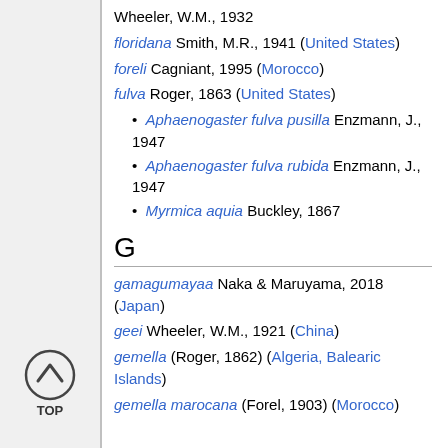Wheeler, W.M., 1932
floridana Smith, M.R., 1941 (United States)
foreli Cagniant, 1995 (Morocco)
fulva Roger, 1863 (United States)
• Aphaenogaster fulva pusilla Enzmann, J., 1947
• Aphaenogaster fulva rubida Enzmann, J., 1947
• Myrmica aquia Buckley, 1867
G
gamagumayaa Naka & Maruyama, 2018 (Japan)
geei Wheeler, W.M., 1921 (China)
gemella (Roger, 1862) (Algeria, Balearic Islands)
gemella marocana (Forel, 1903) (Morocco)